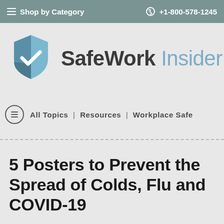≡ Shop by Category    +1-800-578-1245
[Figure (logo): SafeWork Insider logo with blue shield and checkmark icon, followed by bold text 'SafeWork' and lighter text 'Insider']
All Topics  |  Resources  |  Workplace Safe
5 Posters to Prevent the Spread of Colds, Flu and COVID-19